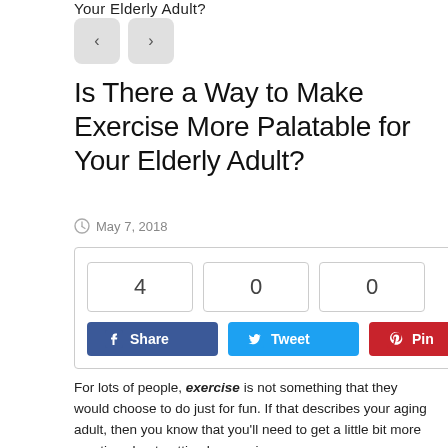Your Elderly Adult?
[Figure (other): Navigation buttons: left arrow and right arrow]
Is There a Way to Make Exercise More Palatable for Your Elderly Adult?
May 7, 2018
[Figure (other): Social share box with counts 4, 0, 0 and Share, Tweet, Pin buttons]
For lots of people, exercise is not something that they would choose to do just for fun. If that describes your aging adult, then you know that you'll need to get a little bit more creative about getting her moving.